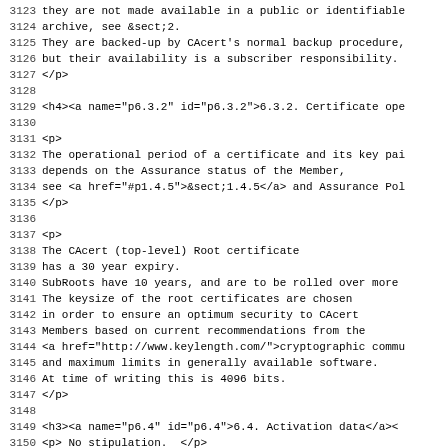3123 they are not made available in a public or identifiable
3124 archive, see &sect;2.
3125 They are backed-up by CAcert's normal backup procedure,
3126 but their availability is a subscriber responsibility.
3127 </p>
3128
3129 <h4><a name="p6.3.2" id="p6.3.2">6.3.2. Certificate ope
3130
3131 <p>
3132 The operational period of a certificate and its key pai
3133 depends on the Assurance status of the Member,
3134 see <a href="#p1.4.5">&sect;1.4.5</a> and Assurance Pol
3135 </p>
3136
3137 <p>
3138 The CAcert (top-level) Root certificate
3139 has a 30 year expiry.
3140 SubRoots have 10 years, and are to be rolled over more
3141 The keysize of the root certificates are chosen
3142 in order to ensure an optimum security to CAcert
3143 Members based on current recommendations from the
3144 <a href="http://www.keylength.com/">cryptographic commu
3145 and maximum limits in generally available software.
3146 At time of writing this is 4096 bits.
3147 </p>
3148
3149 <h3><a name="p6.4" id="p6.4">6.4. Activation data</a><
3150 <p> No stipulation.  </p>
3151
3152 <h3><a name="p6.5" id="p6.5">6.5. Computer security con
3153 <p>
3154 Refer to Security Policy.
3155 </p>